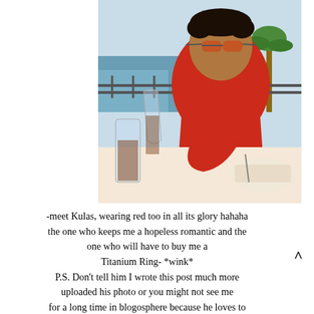[Figure (photo): A man wearing a red polo shirt and orange-tinted sunglasses sitting at an outdoor restaurant table by the water. There is a glass carafe with a brown drink, a water glass, a red cloth napkin, and food on a plate visible on the table. A palm tree and waterfront scene is visible in the background.]
-meet Kulas, wearing red too in all its glory hahaha the one who keeps me a hopeless romantic and the one who will have to buy me a Titanium Ring- *wink* P.S. Don't tell him I wrote this post much more uploaded his photo or you might not see me for a long time in blogosphere because he loves to